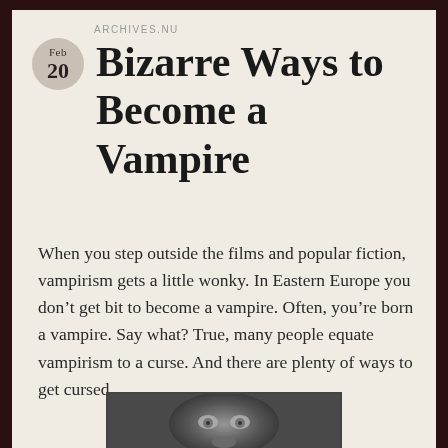ARCHIVES.NU
Bizarre Ways to Become a Vampire
When you step outside the films and popular fiction, vampirism gets a little wonky. In Eastern Europe you don't get bit to become a vampire. Often, you're born a vampire. Say what? True, many people equate vampirism to a curse. And there are plenty of ways to get cursed.
[Figure (photo): Black and white close-up photograph of a creepy, bald, pale-faced figure with wide pale eyes — vampire-like appearance.]